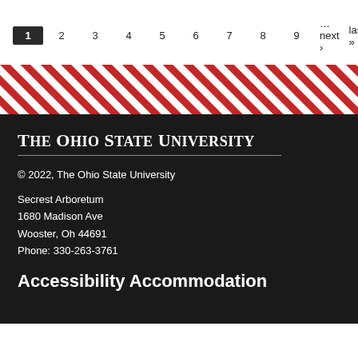1  2  3  4  5  6  7  8  9  …next › last »
[Figure (illustration): Diagonal red and white stripe band decorative element]
The Ohio State University
© 2022, The Ohio State University
Secrest Arboretum
1680 Madison Ave
Wooster, Oh 44691
Phone: 330-263-3761
Accessibility Accommodation